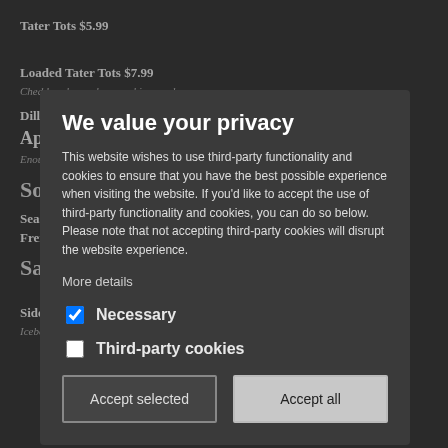Tater Tots $5.99
Loaded Tater Tots $7.99
Cheddar cheese, bacon, chives and sour cream
Dill Pickle Fries $6.99
Appetizers
Enough to share! Your choice of 3 appetizers
We value your privacy
This website wishes to use third-party functionality and cookies to ensure that you have the best possible experience when visiting the website. If you'd like to accept the use of third-party functionality and cookies, you can do so below. Please note that not accepting third-party cookies will disrupt the website experience.
More details
Necessary
Third-party cookies
Accept selected
Accept all
Soups
Seasonal Cup $2.99 Bowl $4.49
French Onion Bowl $5.49
Salads
Side Salad $3.99
Iceberg lettuce, tomato, black & green olives, banana peppers